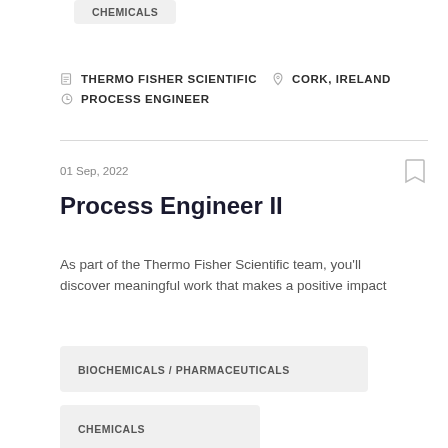CHEMICALS
🏢 THERMO FISHER SCIENTIFIC  📍 CORK, IRELAND  🕐 PROCESS ENGINEER
01 Sep, 2022
Process Engineer II
As part of the Thermo Fisher Scientific team, you'll discover meaningful work that makes a positive impact
BIOCHEMICALS / PHARMACEUTICALS
CHEMICALS